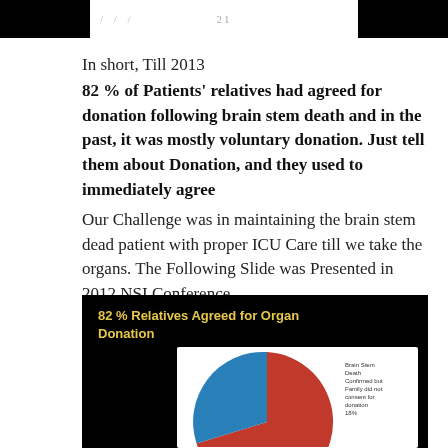21
In short, Till 2013
82 % of Patients' relatives had agreed for donation following brain stem death and in the past, it was mostly voluntary donation. Just tell them about Donation, and they used to immediately agree
Our Challenge was in maintaining the brain stem dead patient with proper ICU Care till we take the organs. The Following Slide was Presented in 2012 NSI Conference
[Figure (pie-chart): Pie chart showing organ donation agreement rates, with a large red slice and a blue slice labeled 'Brain Stem Death Confirmed but Family did not consent for donation 18%']